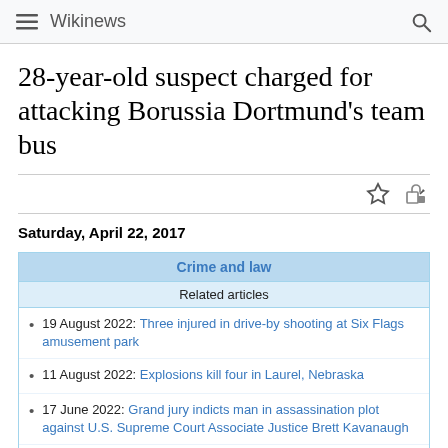Wikinews
28-year-old suspect charged for attacking Borussia Dortmund's team bus
Saturday, April 22, 2017
| Crime and law |
| --- |
| Related articles |
| 19 August 2022: Three injured in drive-by shooting at Six Flags amusement park |
| 11 August 2022: Explosions kill four in Laurel, Nebraska |
| 17 June 2022: Grand jury indicts man in assassination plot against U.S. Supreme Court Associate Justice Brett Kavanaugh |
| 11 June 2022: Trial for accused rapist of Brittany Higgins set to begin on June 27 |